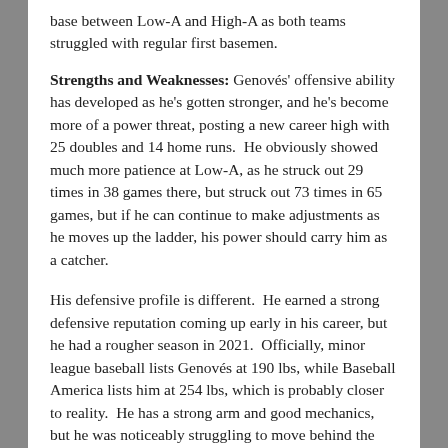base between Low-A and High-A as both teams struggled with regular first basemen.
Strengths and Weaknesses: Genovés' offensive ability has developed as he's gotten stronger, and he's become more of a power threat, posting a new career high with 25 doubles and 14 home runs.  He obviously showed much more patience at Low-A, as he struck out 29 times in 38 games there, but struck out 73 times in 65 games, but if he can continue to make adjustments as he moves up the ladder, his power should carry him as a catcher.
His defensive profile is different.  He earned a strong defensive reputation coming up early in his career, but he had a rougher season in 2021.  Officially, minor league baseball lists Genovés at 190 lbs, while Baseball America lists him at 254 lbs, which is probably closer to reality.  He has a strong arm and good mechanics, but he was noticeably struggling to move behind the plate.  If he can manage his body better, he could get back to